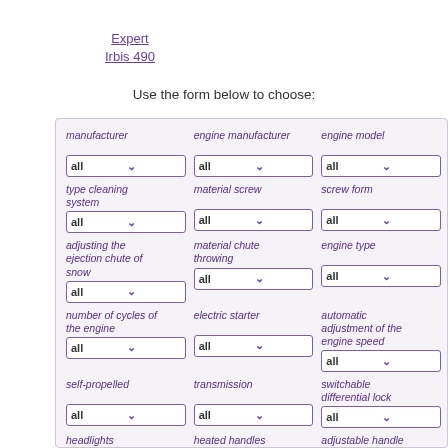Expert
Irbis 490
Use the form below to choose:
| manufacturer | engine manufacturer | engine model |
| --- | --- | --- |
| all | all | all |
| type cleaning system / all | material screw / all | screw form / all |
| adjusting the ejection chute of snow / all | material chute throwing / all | engine type / all |
| number of cycles of the engine / all | electric starter / all | automatic adjustment of the engine speed / all |
| self-propelled / all | transmission / all | switchable differential lock / all |
| headlights | heated handles | adjustable handle height |